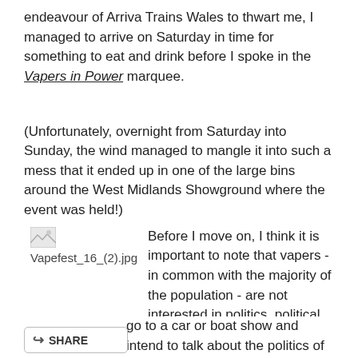endeavour of Arriva Trains Wales to thwart me, I managed to arrive on Saturday in time for something to eat and drink before I spoke in the Vapers in Power marquee.
(Unfortunately, overnight from Saturday into Sunday, the wind managed to mangle it into such a mess that it ended up in one of the large bins around the West Midlands Showground where the event was held!)
[Figure (photo): Placeholder image thumbnail labeled Vapefest_16_(2).jpg]
Before I move on, I think it is important to note that vapers - in common with the majority of the population - are not interested in politics, political parties, or political campaigns. Those attending Vapefest were there to have a good time. They were looking for bargains from the dozens of businesses selling their wares. And why not? You wouldn't go to a car or boat show and intend to talk about the politics of owning cars or boats. There are, though, a